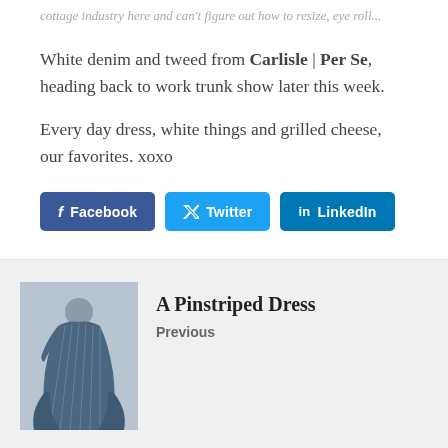cottage industry here and can't figure out how to resize, eye roll...
White denim and tweed from Carlisle | Per Se, heading back to work trunk show later this week.
Every day dress, white things and grilled cheese, our favorites. xoxo
[Figure (other): Social share buttons: Facebook, Twitter, LinkedIn]
[Figure (photo): A woman in a blue and white pinstriped dress]
A Pinstriped Dress
Previous